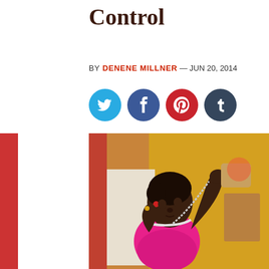Control
BY DENENE MILLNER — JUN 20, 2014
[Figure (infographic): Social media sharing icons: Twitter (blue circle), Facebook (dark blue circle), Pinterest (red circle), Tumblr (dark teal circle)]
[Figure (photo): A young Black girl in a pink shirt playing with a beaded necklace or bracelet, set against a colorful background]